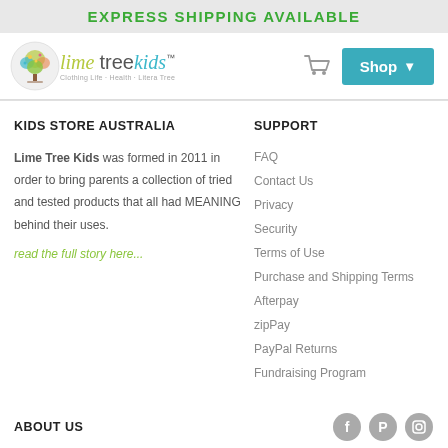EXPRESS SHIPPING AVAILABLE
[Figure (logo): Lime Tree Kids logo with tree icon and stylized text]
KIDS STORE AUSTRALIA
Lime Tree Kids was formed in 2011 in order to bring parents a collection of tried and tested products that all had MEANING behind their uses.
read the full story here...
SUPPORT
FAQ
Contact Us
Privacy
Security
Terms of Use
Purchase and Shipping Terms
Afterpay
zipPay
PayPal Returns
Fundraising Program
ABOUT US
[Figure (illustration): Social media icons: Facebook, Pinterest, and a third icon]